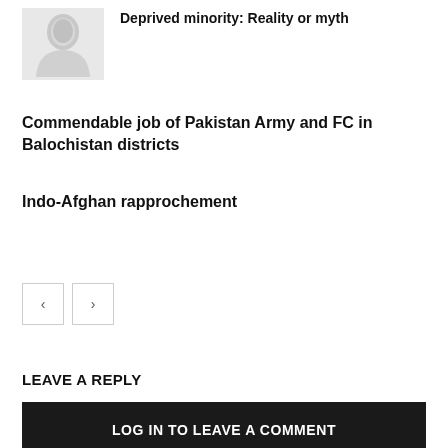[Figure (photo): Small thumbnail photo of a person, grayscale]
Deprived minority: Reality or myth
Commendable job of Pakistan Army and FC in Balochistan districts
Indo-Afghan rapprochement
LEAVE A REPLY
LOG IN TO LEAVE A COMMENT